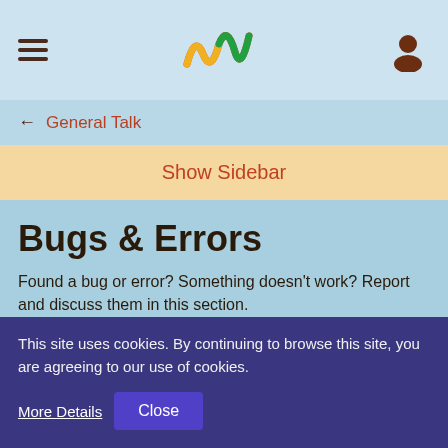Navigation bar with hamburger menu, logo, and user icon
← General Talk
Show Sidebar
Bugs & Errors
Found a bug or error? Something doesn't work? Report and discuss them in this section.
↕ Author   Filter
Problem with phone option when buying turquoise.  2
This site uses cookies. By continuing to browse this site, you are agreeing to our use of cookies.
More Details   Close